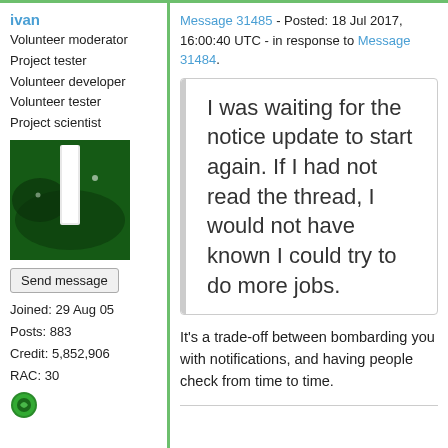ivan
Volunteer moderator
Project tester
Volunteer developer
Volunteer tester
Project scientist
[Figure (photo): Avatar image showing a white vertical stripe on a dark green background]
Send message
Joined: 29 Aug 05
Posts: 883
Credit: 5,852,906
RAC: 30
[Figure (logo): Green circular badge/icon]
Message 31485 - Posted: 18 Jul 2017, 16:00:40 UTC - in response to Message 31484.
I was waiting for the notice update to start again. If I had not read the thread, I would not have known I could try to do more jobs.
It's a trade-off between bombarding you with notifications, and having people check from time to time.